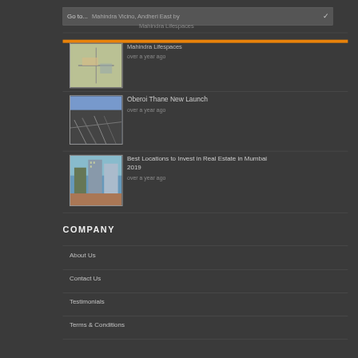Go to... Mahindra Vicino, Andheri East by Mahindra Lifespaces
[Figure (screenshot): Thumbnail image of a map]
Mahindra Lifespaces
over a year ago
[Figure (photo): Thumbnail image of a highway aerial view]
Oberoi Thane New Launch
over a year ago
[Figure (photo): Thumbnail image of tall buildings in Mumbai]
Best Locations to Invest in Real Estate in Mumbai 2019
over a year ago
COMPANY
About Us
Contact Us
Testimonials
Terms & Conditions